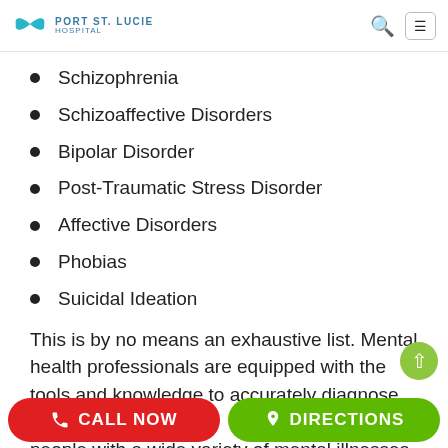Port St. Lucie Hospital
Schizophrenia
Schizoaffective Disorders
Bipolar Disorder
Post-Traumatic Stress Disorder
Affective Disorders
Phobias
Suicidal Ideation
This is by no means an exhaustive list. Mental health professionals are equipped with the tools and knowledge to accurately diagnose, treat, and support people with a wide variety of mental illnesses. And
CALL NOW   DIRECTIONS